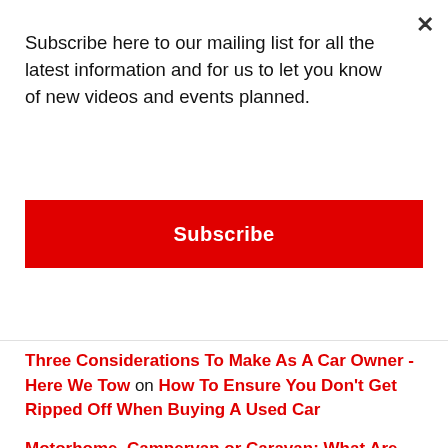Subscribe here to our mailing list for all the latest information and for us to let you know of new videos and events planned.
Subscribe
Three Considerations To Make As A Car Owner - Here We Tow on How To Ensure You Don't Get Ripped Off When Buying A Used Car
Motorhome, Campervan or Caravan: What Are the Differences? - Here We Tow on Saving Money On Your Next Family Car – A Mini-Guide
How To Ensure You Don't Get Ripped Off When Buying A Used Car - Here We Tow on What To Look For When Buying A New Car